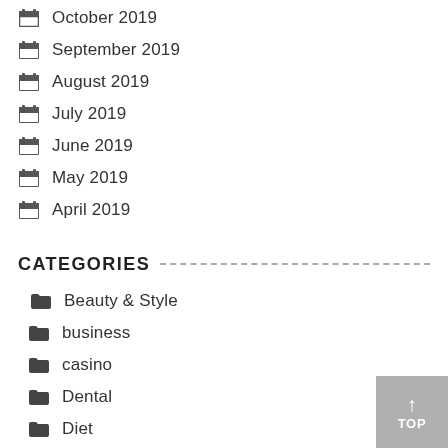October 2019
September 2019
August 2019
July 2019
June 2019
May 2019
April 2019
CATEGORIES
Beauty & Style
business
casino
Dental
Diet